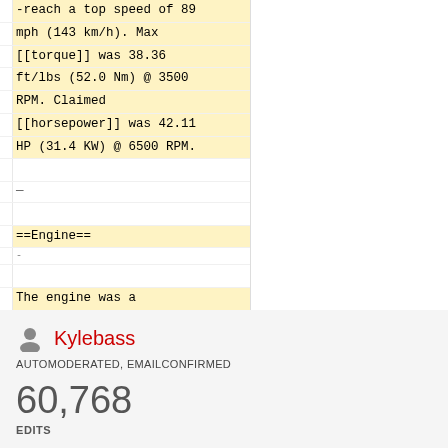-reach a top speed of 89 mph (143 km/h). Max [[torque]] was 38.36 ft/lbs (52.0 Nm) @ 3500 RPM. Claimed [[horsepower]] was 42.11 HP (31.4 KW) @ 6500 RPM.
==Engine==
The engine was a [[liquid cooled]] v2, four-stroke. A 75.0mm
Kylebass
AUTOMODERATED, EMAILCONFIRMED
60,768
EDITS